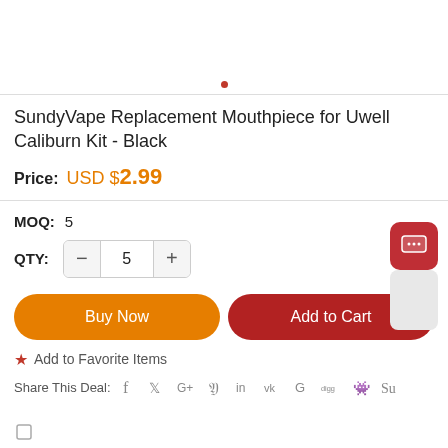[Figure (other): Red dot indicator above divider line, likely image carousel indicator]
SundyVape Replacement Mouthpiece for Uwell Caliburn Kit - Black
Price: USD $2.99
MOQ: 5
QTY: 5
Buy Now
Add to Cart
★ Add to Favorite Items
Share This Deal: